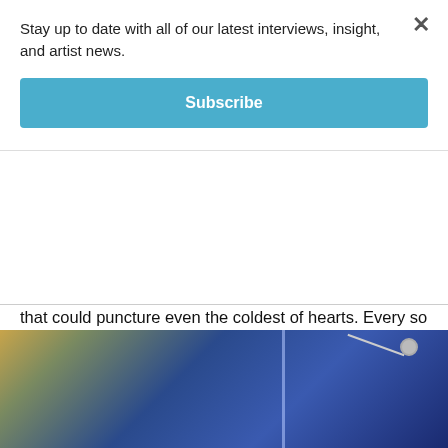Stay up to date with all of our latest interviews, insight, and artist news.
Subscribe
that could puncture even the coldest of hearts. Every so often I would look back at the Jimmie Rodgers mural displaying his excitable two thumbs-up, and thought surely he was pleased with Bill and his Belles. You done 'em proud, Bill (Kris).
On my way back to the Cumberland Stage, I asked a few passersby some questions.
[Figure (photo): Concert stage photo with blue lighting and microphone stand visible]